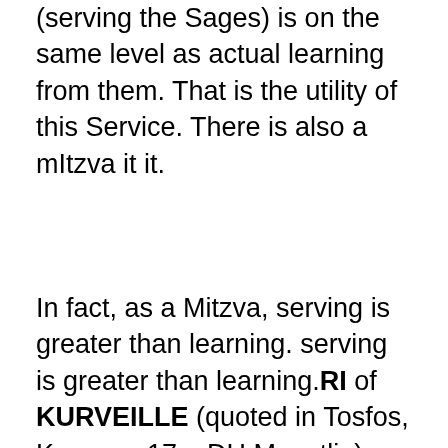(serving the Sages) is on the same level as actual learning from them. That is the utility of this Service. There is also a mItzva it it.
In fact, as a Mitzva, serving is greater than learning. serving is greater than learning.RI of KURVEILLE (quoted in Tosfos, Kesuvos 17a, DH Mevatlin) says that even though one must be stop Torah study in order to perform the Mitzvah of burying the dead, "Shimush Talmidei Chachamim" overrides burying the dead (even a "Mes Mitzvah"). The service of the